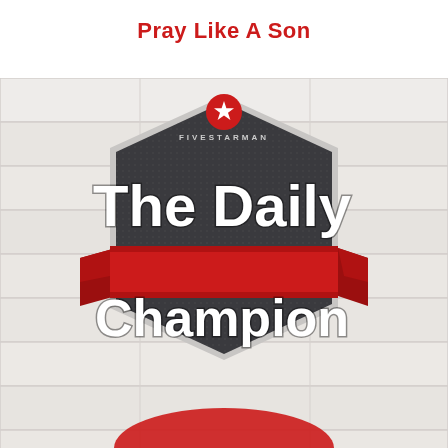Pray Like A Son
[Figure (logo): Fivestarman 'The Daily Champion' hexagonal badge logo on a white wood plank background. The badge is a dark charcoal hexagon with a red star at the top, the text FIVESTARMAN in small caps, and large bold white text reading 'The Daily Champion'. A red ribbon banner crosses the middle of the badge.]